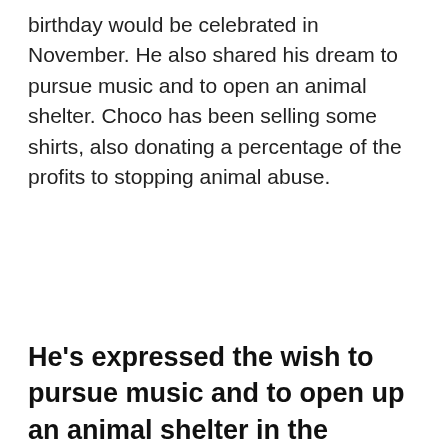birthday would be celebrated in November. He also shared his dream to pursue music and to open an animal shelter. Choco has been selling some shirts, also donating a percentage of the profits to stopping animal abuse.
He's expressed the wish to pursue music and to open up an animal shelter in the